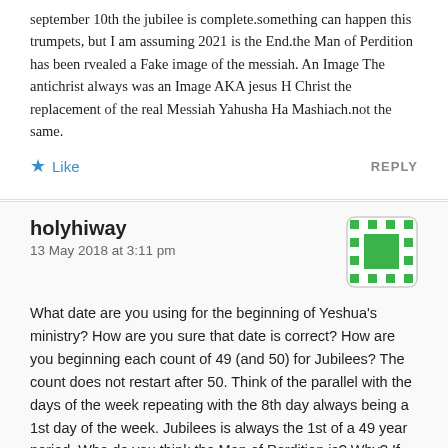september 10th the jubilee is complete.something can happen this trumpets, but I am assuming 2021 is the End.the Man of Perdition has been rvealed a Fake image of the messiah. An Image The antichrist always was an Image AKA jesus H Christ the replacement of the real Messiah Yahusha Ha Mashiach.not the same.
★ Like
REPLY
holyhiway
13 May 2018 at 3:11 pm
What date are you using for the beginning of Yeshua's ministry? How are you sure that date is correct? How are you beginning each count of 49 (and 50) for Jubilees? The count does not restart after 50. Think of the parallel with the days of the week repeating with the 8th day always being a 1st day of the week. Jubilees is always the 1st of a 49 year period. Who do you think the Man of Perdition is? Why? If we are repeating a historical cycle, we are